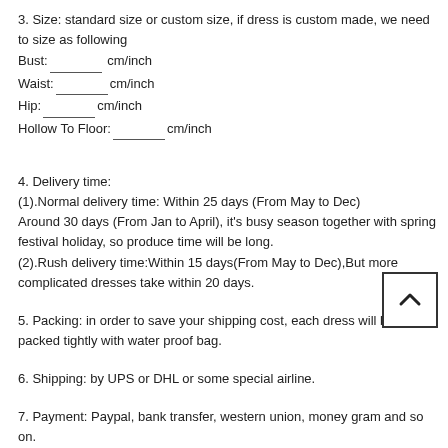3. Size: standard size or custom size, if dress is custom made, we need to size as following
Bust:______ cm/inch
Waist:______cm/inch
Hip:________cm/inch
Hollow To Floor:_______cm/inch
4. Delivery time:
(1).Normal delivery time: Within 25 days (From May to Dec)
Around 30 days (From Jan to April), it's busy season together with spring festival holiday, so produce time will be long.
(2).Rush delivery time:Within 15 days(From May to Dec),But more complicated dresses take within 20 days.
5. Packing: in order to save your shipping cost, each dress will be packed tightly with water proof bag.
6. Shipping: by UPS or DHL or some special airline.
7. Payment: Paypal, bank transfer, western union, money gram and so on.